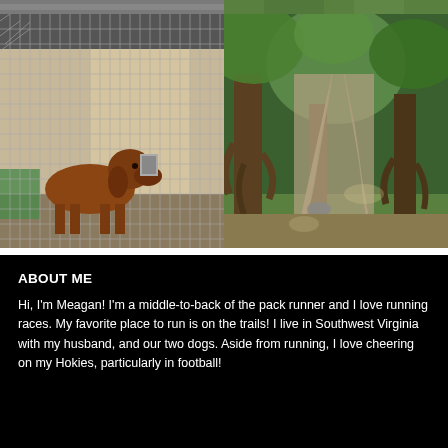[Figure (photo): A bloodhound dog standing inside a chain-link kennel fence with a building in the background]
[Figure (photo): A wooded trail with large tree roots visible, surrounded by lush green forest]
ABOUT ME
Hi, I'm Meagan! I'm a middle-to-back of the pack runner and I love running races. My favorite place to run is on the trails! I live in Southwest Virginia with my husband, and our two dogs. Aside from running, I love cheering on my Hokies, particularly in football!